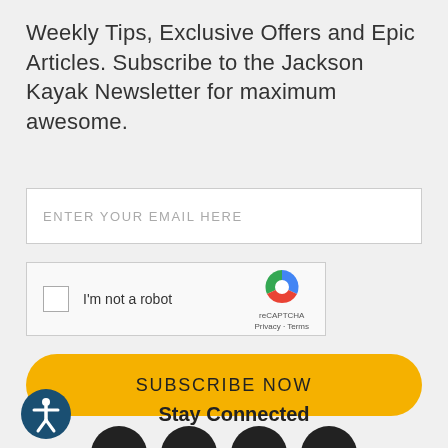Weekly Tips, Exclusive Offers and Epic Articles. Subscribe to the Jackson Kayak Newsletter for maximum awesome.
ENTER YOUR EMAIL HERE
[Figure (other): reCAPTCHA widget with checkbox labeled 'I'm not a robot', reCAPTCHA logo, Privacy and Terms links]
SUBSCRIBE NOW
Stay Connected
[Figure (other): Accessibility icon (person in circle) and social media icons row (Facebook, Instagram, and others partially visible)]